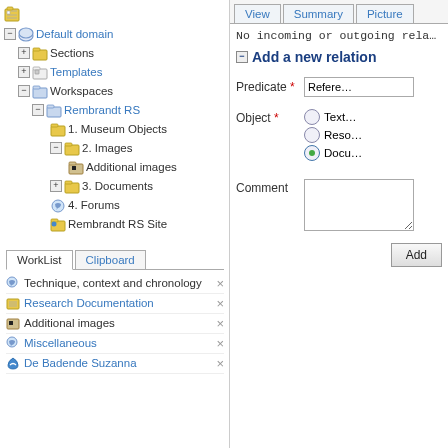[Figure (screenshot): Left panel showing a file tree with Default domain, Sections, Templates, Workspaces, Rembrandt RS, Museum Objects, Images, Additional images, Documents, Forums, Rembrandt RS Site. Below is a WorkList/Clipboard tab panel with items: Technique context and chronology, Research Documentation, Additional images, Miscellaneous, De Badende Suzanna. Right panel shows View/Summary/Picture tabs, 'No incoming or outgoing rela...' text, 'Add a new relation' form with Predicate field (Refere...), Object radio buttons (Text, Reso, Docu), Comment textarea, and Add button. Red arrows point to Add a new relation, Predicate field, and Add button.]